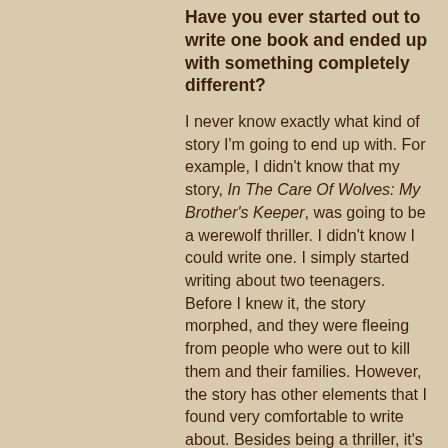Have you ever started out to write one book and ended up with something completely different?
I never know exactly what kind of story I'm going to end up with. For example, I didn't know that my story, In The Care Of Wolves: My Brother's Keeper, was going to be a werewolf thriller. I didn't know I could write one. I simply started writing about two teenagers. Before I knew it, the story morphed, and they were fleeing from people who were out to kill them and their families. However, the story has other elements that I found very comfortable to write about. Besides being a thriller, it's a story about family, love and loyalty. It's also about going beyond the narrow labels that people give themselves and believing in who they are. I call it a thriller with heart.